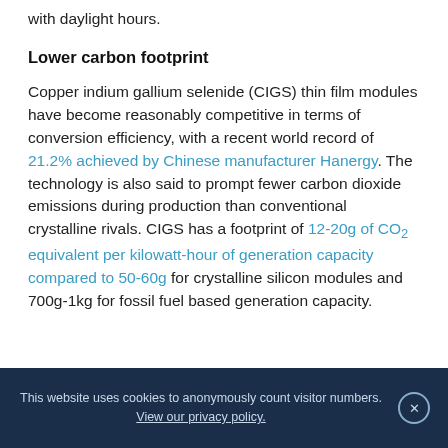with daylight hours.
Lower carbon footprint
Copper indium gallium selenide (CIGS) thin film modules have become reasonably competitive in terms of conversion efficiency, with a recent world record of 21.2% achieved by Chinese manufacturer Hanergy. The technology is also said to prompt fewer carbon dioxide emissions during production than conventional crystalline rivals. CIGS has a footprint of 12-20g of CO₂ equivalent per kilowatt-hour of generation capacity compared to 50-60g for crystalline silicon modules and 700g-1kg for fossil fuel based generation capacity.
This website uses cookies to anonymously count visitor numbers. View our privacy policy. ×